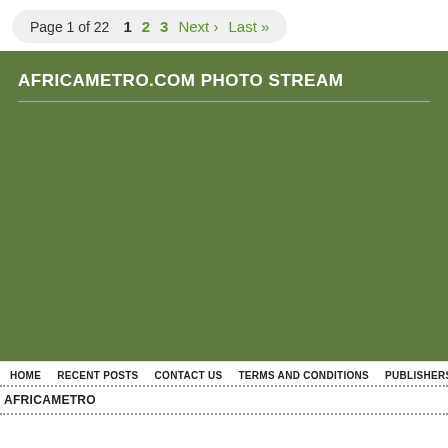Page 1 of 22  1  2  3  Next ›  Last »
AFRICAMETRO.COM PHOTO STREAM
HOME  RECENT POSTS  CONTACT US  TERMS AND CONDITIONS  PUBLISHERS  R
AFRICAMETRO